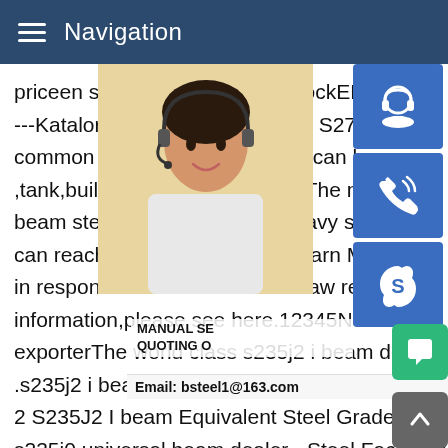Navigation
priceen s275j0 double t steel stockEN1002---Katalor Enterprises.EN 10025 S275j0 H common carbon structural steel,can be us ,tank,building ,bridge,machine .The materi beam steel we offer is super heavy steel p can reach 600mm .Get Price.Learn MoreS in response to a notice of local law require information,please see here.12345Nexts2 exporterThe world class s235j2 i beam de .s235j2 i beam dealer - packersandmovers 2 S235J2 I beam Equivalent Steel Grade S235J2 Get Price.en s235j0 universal beam dealer - Steel Factory.As en s235j0 universal beam dealer Exporter in China,We specialise in offe both en s235j0 universal beam dealer forSome results are rem in response to a notice of local law requirement.For more information,please see here.12345NextS275J0 channel sectio
[Figure (photo): Customer service representative woman with headset smiling]
[Figure (infographic): Blue icon buttons: customer support icon, phone/call icon, Skype icon]
MANUAL SE... QUOTING O...
Email: bsteel1@163.com
[Figure (infographic): Green chat bubble button and grey up-arrow button at bottom right]